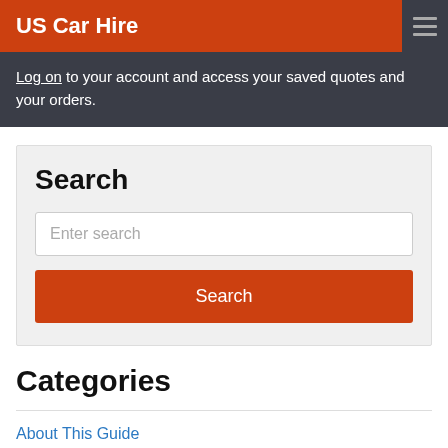US Car Hire
Log on to your account and access your saved quotes and your orders.
Search
Enter search
Search
Categories
About This Guide
Latest Articles